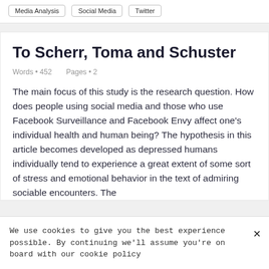Media Analysis
Social Media
Twitter
To Scherr, Toma and Schuster
Words • 452    Pages • 2
The main focus of this study is the research question. How does people using social media and those who use Facebook Surveillance and Facebook Envy affect one's individual health and human being? The hypothesis in this article becomes developed as depressed humans individually tend to experience a great extent of some sort of stress and emotional behavior in the text of admiring sociable encounters. The
We use cookies to give you the best experience possible. By continuing we'll assume you're on board with our cookie policy